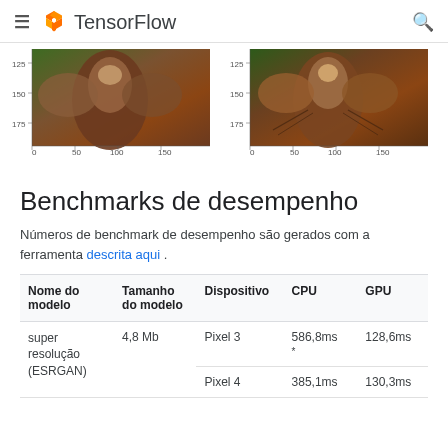TensorFlow
[Figure (photo): Two side-by-side macro photographs of an insect (moth/beetle), each with axis tick labels: y-axis 125, 150, 175 and x-axis 0, 50, 100, 150]
Benchmarks de desempenho
Números de benchmark de desempenho são gerados com a ferramenta descrita aqui .
| Nome do modelo | Tamanho do modelo | Dispositivo | CPU | GPU |
| --- | --- | --- | --- | --- |
| super resolução (ESRGAN) | 4,8 Mb | Pixel 3 | 586,8ms * | 128,6ms |
|  |  | Pixel 4 | 385,1ms | 130,3ms |